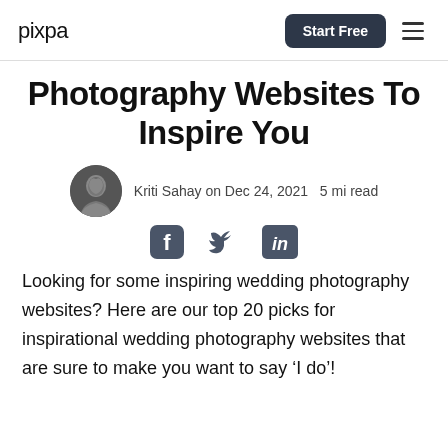pixpa | Start Free
Photography Websites To Inspire You
Kriti Sahay on Dec 24, 2021  5 mi read
[Figure (illustration): Social sharing icons: Facebook, Twitter, LinkedIn]
Looking for some inspiring wedding photography websites? Here are our top 20 picks for inspirational wedding photography websites that are sure to make you want to say ‘I do’!